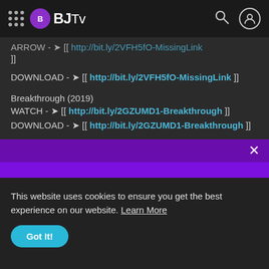BJTv
ARROW -> [[ http://bit.ly/2VFH5fO-MissingLink ]]
DOWNLOAD -> [[ http://bit.ly/2VFH5fO-MissingLink ]]
Breakthrough (2019)
WATCH -> [[ http://bit.ly/2GZUMD1-Breakthrough ]]
DOWNLOAD -> [[ http://bit.ly/2GZUMD1-Breakthrough ]]
After (2019)
This website uses cookies to ensure you get the best experience on our website. Learn More
Got It!